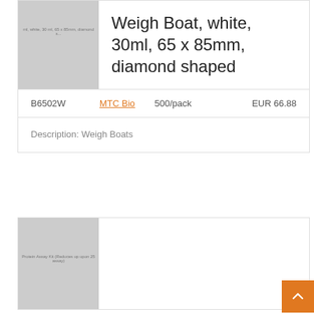[Figure (photo): Product image placeholder for weigh boat, grey box with label text]
Weigh Boat, white, 30ml, 65 x 85mm, diamond shaped
| SKU | Brand | Pack Size | Price |
| --- | --- | --- | --- |
| B6502W | MTC Bio | 500/pack | EUR 66.88 |
Description: Weigh Boats
[Figure (photo): Product image placeholder for second product, grey box with label text]